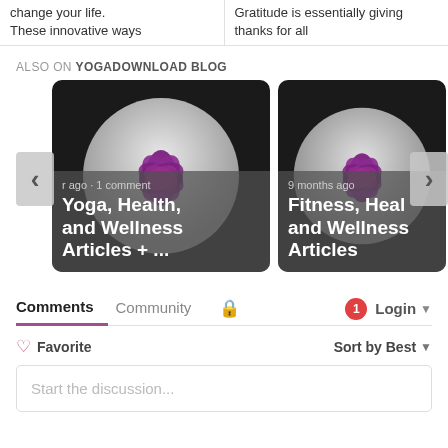change your life. These innovative ways
Gratitude is essentially giving thanks for all
ALSO ON YOGADOWNLOAD BLOG
[Figure (screenshot): Carousel card 1: Yoga blog post thumbnail with lotus logo, text 'r ago · 1 comment', title 'Yoga, Health, and Wellness Articles + ...' with left and right navigation arrows]
[Figure (screenshot): Carousel card 2: Fitness blog post thumbnail with lotus logo, text '9 months ago', title 'Fitness, Health, and Wellness Articles' (partially visible), right navigation arrow]
Comments  Community  🔒  1  Login ▾
♡ Favorite
Sort by Best ▾
Start the discussion...